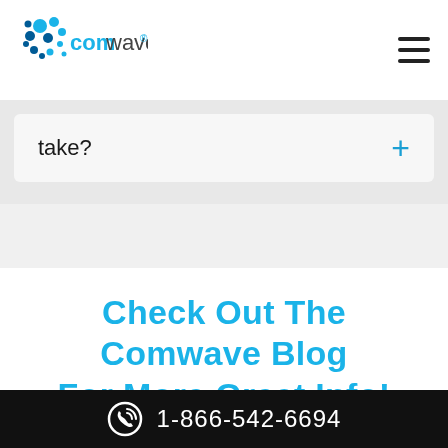[Figure (logo): Comwave logo with blue globe/dots icon and the text 'comwave']
take?
+
Check Out The Comwave Blog For More Great Info!
[Figure (photo): A dark image showing TV screens/displays, partially visible at the bottom of the page]
1-866-542-6694